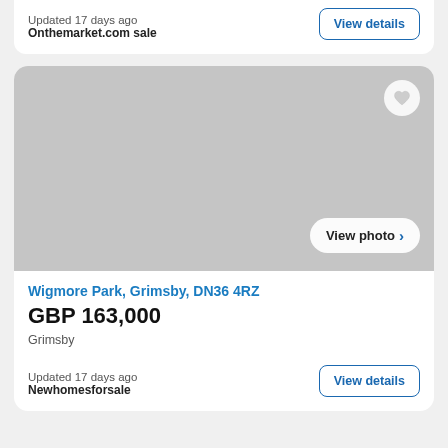Updated 17 days ago
Onthemarket.com sale
[Figure (photo): Property listing photo placeholder (grey background) with heart icon and 'View photo' button]
Wigmore Park, Grimsby, DN36 4RZ
GBP 163,000
Grimsby
Updated 17 days ago
Newhomesforsale